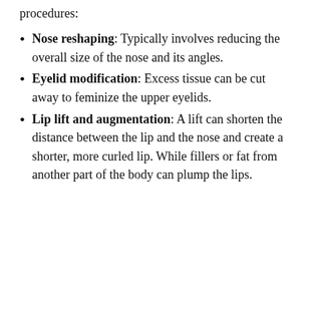procedures:
Nose reshaping: Typically involves reducing the overall size of the nose and its angles.
Eyelid modification: Excess tissue can be cut away to feminize the upper eyelids.
Lip lift and augmentation: A lift can shorten the distance between the lip and the nose and create a shorter, more curled lip. While fillers or fat from another part of the body can plump the lips.